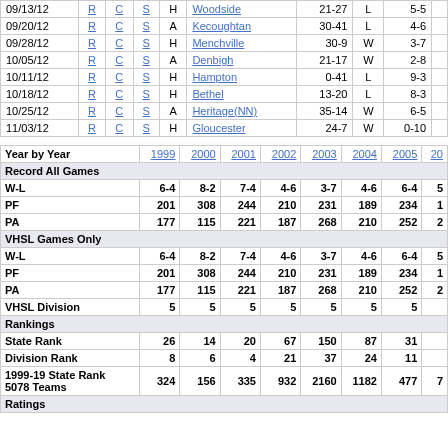| Date |  |  |  | H/A | Opponent | Score | W/L | Record |
| --- | --- | --- | --- | --- | --- | --- | --- | --- |
| 09/13/12 | R | C | S | H | Woodside | 21-27 | L | 5-5 |
| 09/20/12 | R | C | S | A | Kecoughtan | 30-41 | L | 4-6 |
| 09/28/12 | R | C | S | H | Menchville | 30-9 | W | 3-7 |
| 10/05/12 | R | C | S | A | Denbigh | 21-17 | W | 2-8 |
| 10/11/12 | R | C | S | H | Hampton | 0-41 | L | 9-3 |
| 10/18/12 | R | C | S | H | Bethel | 13-20 | L | 8-3 |
| 10/25/12 | R | C | S | A | Heritage(NN) | 35-14 | W | 6-5 |
| 11/03/12 | R | C | S | H | Gloucester | 24-7 | W | 0-10 |
| Year by Year | 1999 | 2000 | 2001 | 2002 | 2003 | 2004 | 2005 | 20... |
| --- | --- | --- | --- | --- | --- | --- | --- | --- |
| Record All Games |  |  |  |  |  |  |  |  |
| W-L | 6-4 | 8-2 | 7-4 | 4-6 | 3-7 | 4-6 | 6-4 | 5... |
| PF | 201 | 308 | 244 | 210 | 231 | 189 | 234 | 1... |
| PA | 177 | 115 | 221 | 187 | 268 | 210 | 252 | 2... |
| VHSL Games Only |  |  |  |  |  |  |  |  |
| W-L | 6-4 | 8-2 | 7-4 | 4-6 | 3-7 | 4-6 | 6-4 | 5... |
| PF | 201 | 308 | 244 | 210 | 231 | 189 | 234 | 1... |
| PA | 177 | 115 | 221 | 187 | 268 | 210 | 252 | 2... |
| VHSL Division | 5 | 5 | 5 | 5 | 5 | 5 | 5 |  |
| Rankings |  |  |  |  |  |  |  |  |
| State Rank | 26 | 14 | 20 | 67 | 150 | 87 | 31 |  |
| Division Rank | 8 | 6 | 4 | 21 | 37 | 24 | 11 |  |
| 1999-19 State Rank 5078 Teams | 324 | 156 | 335 | 932 | 2160 | 1182 | 477 | 7... |
| Ratings |  |  |  |  |  |  |  |  |